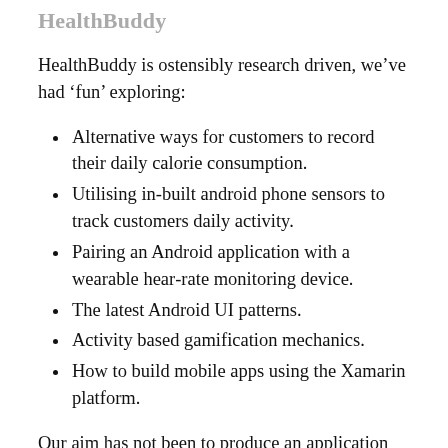HealthBuddy
HealthBuddy is ostensibly research driven, we’ve had ‘fun’ exploring:
Alternative ways for customers to record their daily calorie consumption.
Utilising in-built android phone sensors to track customers daily activity.
Pairing an Android application with a wearable hear-rate monitoring device.
The latest Android UI patterns.
Activity based gamification mechanics.
How to build mobile apps using the Xamarin platform.
Our aim has not been to produce an application